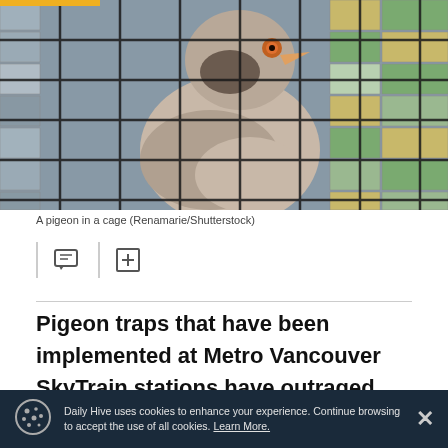[Figure (photo): Close-up photo of a pigeon behind a wire mesh cage, with colorful tiled wall in the background.]
A pigeon in a cage (Renamarie/Shutterstock)
Pigeon traps that have been implemented at Metro Vancouver SkyTrain stations have outraged some members of the public.
Daily Hive uses cookies to enhance your experience. Continue browsing to accept the use of all cookies. Learn More.